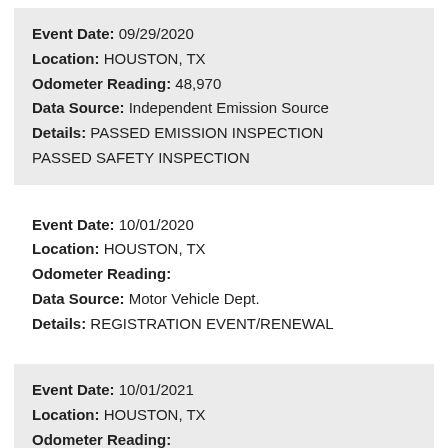Event Date: 09/29/2020
Location: HOUSTON, TX
Odometer Reading: 48,970
Data Source: Independent Emission Source
Details: PASSED EMISSION INSPECTION PASSED SAFETY INSPECTION
Event Date: 10/01/2020
Location: HOUSTON, TX
Odometer Reading:
Data Source: Motor Vehicle Dept.
Details: REGISTRATION EVENT/RENEWAL
Event Date: 10/01/2021
Location: HOUSTON, TX
Odometer Reading:
Data Source: Motor Vehicle Dept.
Details: REGISTRATION EVENT/RENEWAL
Event Date: 10/09/2021
Location: CYPRESS, TX